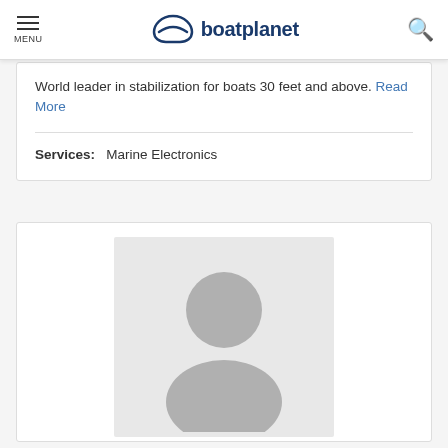MENU | boatplanet
World leader in stabilization for boats 30 feet and above. Read More
Services: Marine Electronics
[Figure (photo): Placeholder avatar/person silhouette image in a light gray box]